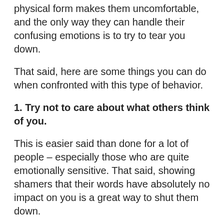physical form makes them uncomfortable, and the only way they can handle their confusing emotions is to try to tear you down.
That said, here are some things you can do when confronted with this type of behavior.
1. Try not to care about what others think of you.
This is easier said than done for a lot of people – especially those who are quite emotionally sensitive. That said, showing shamers that their words have absolutely no impact on you is a great way to shut them down.